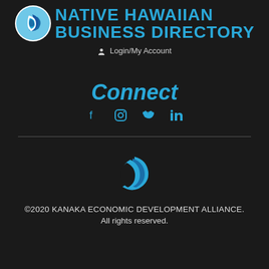[Figure (logo): Native Hawaiian Business Directory logo with circular wave icon and text]
Login/My Account
Connect
[Figure (logo): Social media icons: Facebook, Instagram, Twitter, LinkedIn]
[Figure (logo): Kanaka Economic Development Alliance crescent/wave logo mark]
©2020 KANAKA ECONOMIC DEVELOPMENT ALLIANCE. All rights reserved.